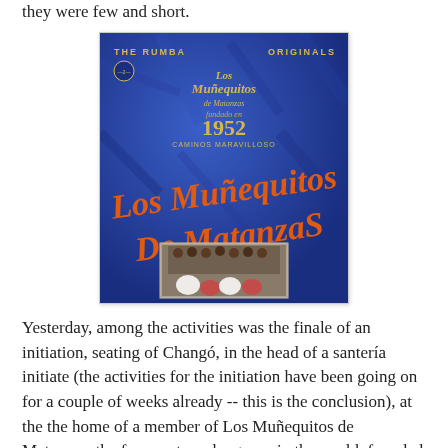they were few and short.
[Figure (photo): Album cover for Los Muñequitos de Matanzas - The Rumba Originals, featuring the text 'THE RUMBA ORIGINALS', 'Los Muñequitos de Matanzas', '1952', 'CAMINOS MARAVILLOSOS' on a blue background with orange script lettering, and a small inset photo of the group performing.]
Yesterday, among the activities was the finale of an initiation, seating of Changó, in the head of a santería initiate (the activities for the initiation have been going on for a couple of weeks already -- this is the conclusion), at the the home of a member of Los Muñequitos de Matanzas, the foremost rumba group in the world, founded way back in the early